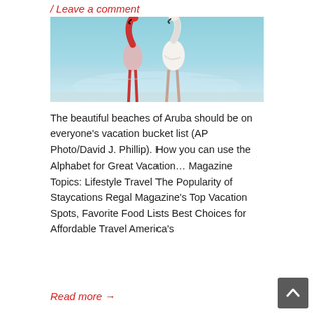/ Leave a comment
[Figure (photo): Two flamingos standing in shallow turquoise water on a beach in Aruba, one showing pink/red neck and the other white body]
The beautiful beaches of Aruba should be on everyone's vacation bucket list (AP Photo/David J. Phillip). How you can use the Alphabet for Great Vacation… Magazine Topics: Lifestyle Travel The Popularity of Staycations Regal Magazine's Top Vacation Spots, Favorite Food Lists Best Choices for Affordable Travel America's
Read more →